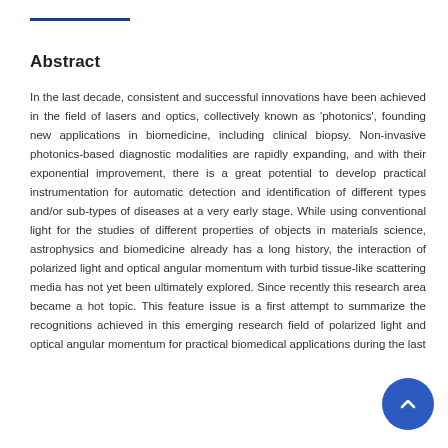Abstract
In the last decade, consistent and successful innovations have been achieved in the field of lasers and optics, collectively known as 'photonics', founding new applications in biomedicine, including clinical biopsy. Non-invasive photonics-based diagnostic modalities are rapidly expanding, and with their exponential improvement, there is a great potential to develop practical instrumentation for automatic detection and identification of different types and/or sub-types of diseases at a very early stage. While using conventional light for the studies of different properties of objects in materials science, astrophysics and biomedicine already has a long history, the interaction of polarized light and optical angular momentum with turbid tissue-like scattering media has not yet been ultimately explored. Since recently this research area became a hot topic. This feature issue is a first attempt to summarize the recognitions achieved in this emerging research field of polarized light and optical angular momentum for practical biomedical applications during the last